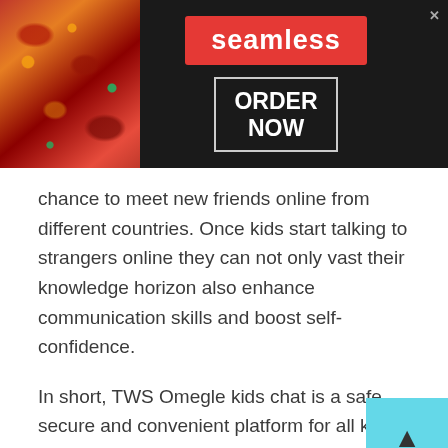[Figure (screenshot): Seamless food delivery advertisement banner with pizza image on left, red Seamless logo badge in center, and ORDER NOW button in white outlined box on dark background]
chance to meet new friends online from different countries. Once kids start talking to strangers online they can not only vast their knowledge horizon also enhance communication skills and boost self-confidence.
In short, TWS Omegle kids chat is a safe, secure and convenient platform for all kids. Parents can surely trust TWS and make their kid's life secure and comfortable.
[Figure (screenshot): Bottom advertisement bar with two sponsored ads: 'Discover New and Used Car Deals Near You' (Ad by Car Deals Near You) with SUV image, and '30 Unusual Archaeological Finds in the Us We Still Can't Explain' (Ad by Quizz) with rock carving image. Close button at top right.]